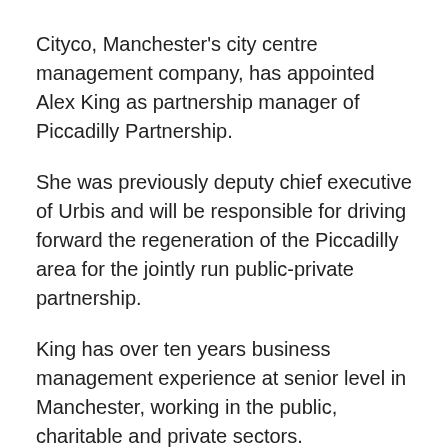Cityco, Manchester's city centre management company, has appointed Alex King as partnership manager of Piccadilly Partnership.
She was previously deputy chief executive of Urbis and will be responsible for driving forward the regeneration of the Piccadilly area for the jointly run public-private partnership.
King has over ten years business management experience at senior level in Manchester, working in the public, charitable and private sectors.
Her new role will also involve the responsibility for the strategic direction of the Piccadilly Partnership and the delivery of a number of projects and events on behalf of its members. One of her primary objectives will be to steer a priorities plan for Piccadilly, focussed on public realm, safety and